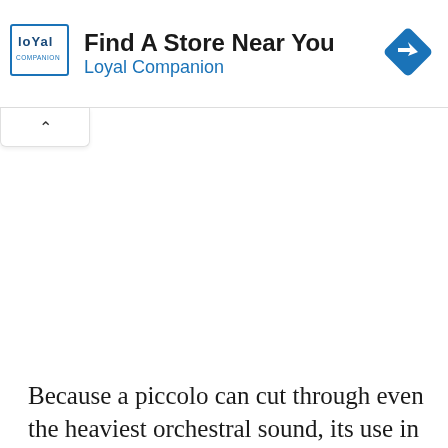[Figure (other): Advertisement banner for Loyal Companion pet store with logo, text 'Find A Store Near You / Loyal Companion', and a blue diamond navigation icon. Includes collapse/close UI controls.]
Because a piccolo can cut through even the heaviest orchestral sound, its use in